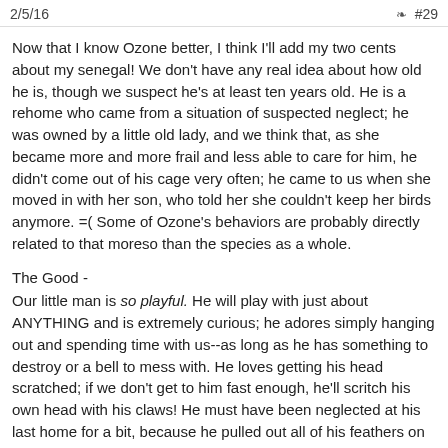2/5/16   #29
Now that I know Ozone better, I think I'll add my two cents about my senegal! We don't have any real idea about how old he is, though we suspect he's at least ten years old. He is a rehome who came from a situation of suspected neglect; he was owned by a little old lady, and we think that, as she became more and more frail and less able to care for him, he didn't come out of his cage very often; he came to us when she moved in with her son, who told her she couldn't keep her birds anymore. =( Some of Ozone's behaviors are probably directly related to that moreso than the species as a whole.
The Good -
Our little man is so playful. He will play with just about ANYTHING and is extremely curious; he adores simply hanging out and spending time with us--as long as he has something to destroy or a bell to mess with. He loves getting his head scratched; if we don't get to him fast enough, he'll scritch his own head with his claws! He must have been neglected at his last home for a bit, because he pulled out all of his feathers on the top of his head, probably replicating the scritches he loves so much. He will play with bell toys in his cage for hours, acrobat all over the place, and is generally a goofball. He needs lots of things to chew, but can entertain himself happily for hours; he is happy to simply hang out with the flock. Very easy-going